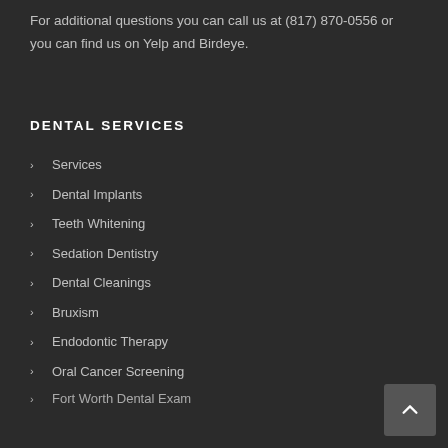For additional questions you can call us at (817) 870-0556 or you can find us on Yelp and Birdeye.
DENTAL SERVICES
Services
Dental Implants
Teeth Whitening
Sedation Dentistry
Dental Cleanings
Bruxism
Endodontic Therapy
Oral Cancer Screening
Fort Worth Dental Exam